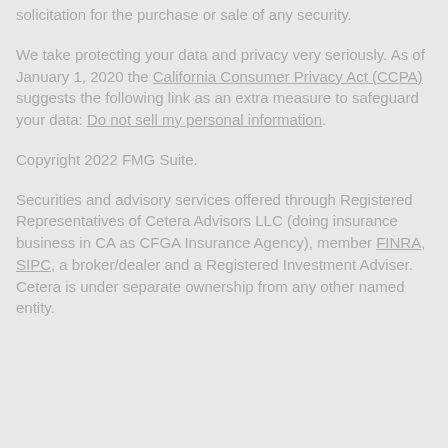solicitation for the purchase or sale of any security.
We take protecting your data and privacy very seriously. As of January 1, 2020 the California Consumer Privacy Act (CCPA) suggests the following link as an extra measure to safeguard your data: Do not sell my personal information.
Copyright 2022 FMG Suite.
Securities and advisory services offered through Registered Representatives of Cetera Advisors LLC (doing insurance business in CA as CFGA Insurance Agency), member FINRA, SIPC, a broker/dealer and a Registered Investment Adviser. Cetera is under separate ownership from any other named entity.